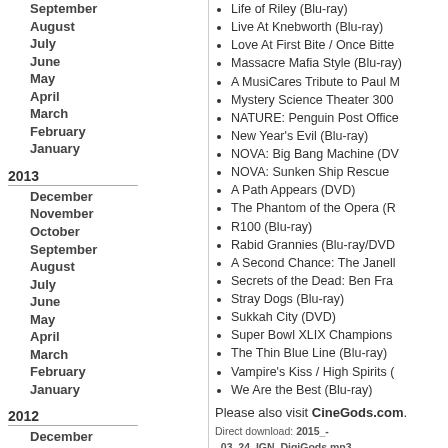September
August
July
June
May
April
March
February
January
2013
December
November
October
September
August
July
June
May
April
March
February
January
2012
December
November
October
September
August
July
June
Life of Riley (Blu-ray)
Live At Knebworth (Blu-ray)
Love At First Bite / Once Bitte
Massacre Mafia Style (Blu-ray)
A MusiCares Tribute to Paul M
Mystery Science Theater 300
NATURE: Penguin Post Office
New Year's Evil (Blu-ray)
NOVA: Big Bang Machine (DV
NOVA: Sunken Ship Rescue
A Path Appears (DVD)
The Phantom of the Opera (R
R100 (Blu-ray)
Rabid Grannies (Blu-ray/DVD
A Second Chance: The Janell
Secrets of the Dead: Ben Fra
Stray Dogs (Blu-ray)
Sukkah City (DVD)
Super Bowl XLIX Champions
The Thin Blue Line (Blu-ray)
Vampire's Kiss / High Spirits (
We Are the Best (Blu-ray)
Please also visit CineGods.com.
Direct download: 2015_-_03_24_IGN_DigiGods.mp3
Category: TV & Film -- posted at: 6:51pm EDT
Tue, 17 March 2015
IGN Digigods Podca